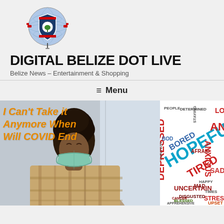[Figure (logo): Globe with Belize flag shield logo for Digital Belize Dot Live]
DIGITAL BELIZE DOT LIVE
Belize News – Entertainment & Shopping
≡ Menu
[Figure (photo): Woman wearing a face mask, looking stressed, resting her head on her hand]
I Can't Take it Anymore When Will COVID End
[Figure (illustration): Word cloud with COVID emotion words: HOPEFUL, DEPRESSED, BORED, TIRED, UNCERTAIN, STRESSED, ANXIOUS, SAD, etc.]